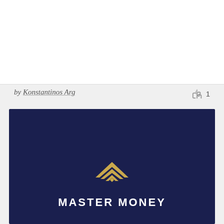by Konstantinos Arg  👍 1
[Figure (logo): Master Money logo on dark navy background. Gold geometric mountain/arrow symbol above white bold text reading MASTER MONEY.]